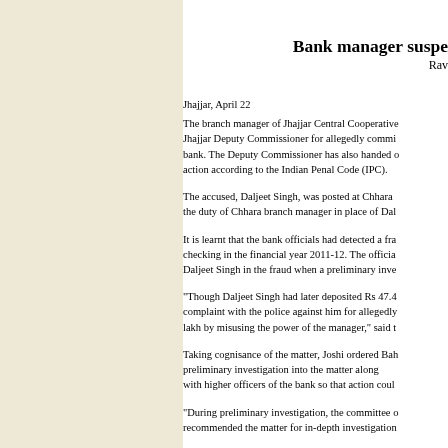Bank manager suspe
Rav
Jhajjar, April 22
The branch manager of Jhajjar Central Cooperative
Jhajjar Deputy Commissioner for allegedly commi
bank. The Deputy Commissioner has also handed o
action according to the Indian Penal Code (IPC).
The accused, Daljeet Singh, was posted at Chhara 
the duty of Chhara branch manager in place of Dal
It is learnt that the bank officials had detected a fra
checking in the financial year 2011-12. The officia
Daljeet Singh in the fraud when a preliminary inve
"Though Daljeet Singh had later deposited Rs 47.4
complaint with the police against him for allegedly
lakh by misusing the power of the manager," said t
Taking cognisance of the matter, Joshi ordered Bah
preliminary investigation into the matter along
with higher officers of the bank so that action coul
"During preliminary investigation, the committee o
recommended the matter for in-depth investigation